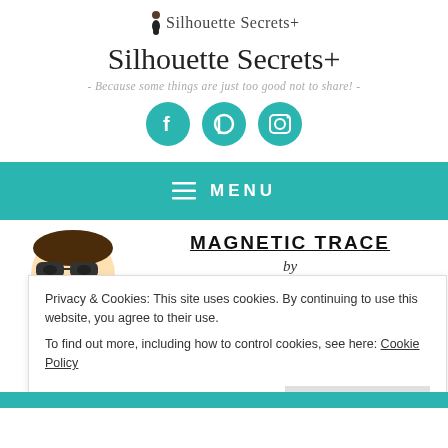[Figure (logo): Silhouette Secrets+ cursive logo with small figure icon]
Silhouette Secrets+
- Because some things are just too good not to share! -
[Figure (infographic): Three teal circular social media icons: Facebook, Pinterest, Instagram]
≡ MENU
[Figure (illustration): Cartoon avatar of a woman with sunglasses]
MAGNETIC TRACE
by
Privacy & Cookies: This site uses cookies. By continuing to use this website, you agree to their use. To find out more, including how to control cookies, see here: Cookie Policy
Close and accept